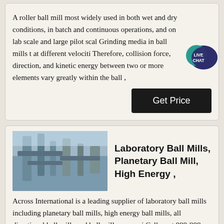A roller ball mill most widely used in both wet and dry conditions, in batch and continuous operations, and on lab scale and large pilot scal Grinding media in ball mills t at different velociti Therefore, collision force, direction, and kinetic energy between two or more elements vary greatly within the ball ,
[Figure (other): Live Chat bubble icon with teal/dark blue speech bubble and white text LIVE CHAT]
Get Price
[Figure (photo): Industrial ball mill equipment photo showing pipes and machinery]
Laboratory Ball Mills, Planetary Ball Mill, High Energy ,
Across International is a leading supplier of laboratory ball mills including planetary ball mills, high energy ball mills, all directional ball mills and ball mill accessori Call us at 888-988-0899